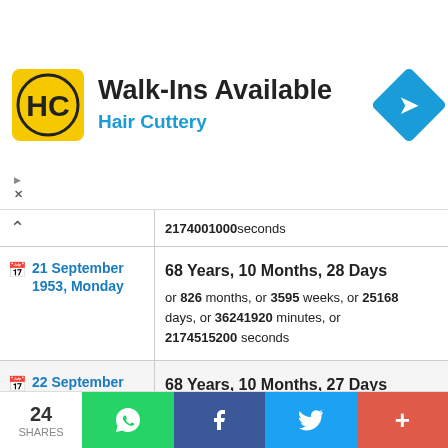[Figure (other): Hair Cuttery advertisement banner with logo, 'Walk-Ins Available' headline, and navigation arrow icon]
| Date | Age |
| --- | --- |
| (partial row) ^^^ | 2174001000 seconds |
| 📅 21 September 1953, Monday | 68 Years, 10 Months, 28 Days
or 826 months, or 3595 weeks, or 25168 days, or 36241920 minutes, or 2174515200 seconds |
| 📅 22 September 1953, Tuesday | 68 Years, 10 Months, 27 Days
or 826 months, or 3595 weeks, or 25167 days, or 36240480 minutes, or 2174428800 seconds |
| 📅 23 September 1953, Wednesday | 68 Years, 10 Months, 26 Days
or 826 months, or 3595 weeks, or 25166 days, or 36239040 minutes, or (cut off) |
24 SHARES